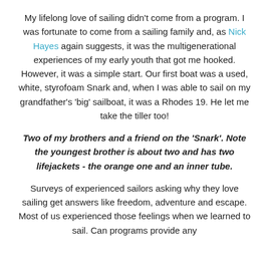My lifelong love of sailing didn't come from a program. I was fortunate to come from a sailing family and, as Nick Hayes again suggests, it was the multigenerational experiences of my early youth that got me hooked. However, it was a simple start. Our first boat was a used, white, styrofoam Snark and, when I was able to sail on my grandfather's 'big' sailboat, it was a Rhodes 19. He let me take the tiller too!
Two of my brothers and a friend on the 'Snark'. Note the youngest brother is about two and has two lifejackets - the orange one and an inner tube.
Surveys of experienced sailors asking why they love sailing get answers like freedom, adventure and escape. Most of us experienced those feelings when we learned to sail. Can programs provide any